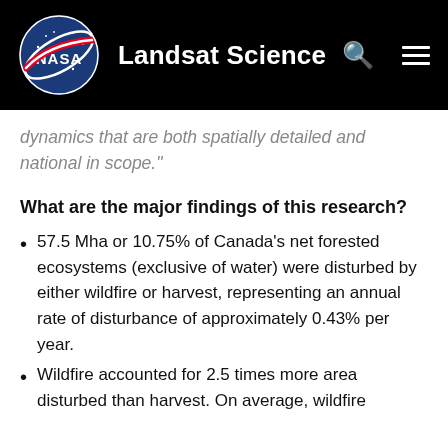Landsat Science
dynamics that are both spatially detailed and national in scope."
What are the major findings of this research?
57.5 Mha or 10.75% of Canada's net forested ecosystems (exclusive of water) were disturbed by either wildfire or harvest, representing an annual rate of disturbance of approximately 0.43% per year.
Wildfire accounted for 2.5 times more area disturbed than harvest. On average, wildfire